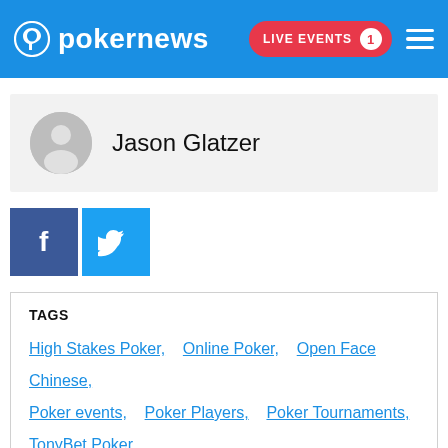pokernews | LIVE EVENTS 1
Jason Glatzer
[Figure (other): Facebook and Twitter social share buttons]
TAGS
High Stakes Poker, Online Poker, Open Face Chinese, Poker events, Poker Players, Poker Tournaments, TonyBet Poker
MORE STORIES